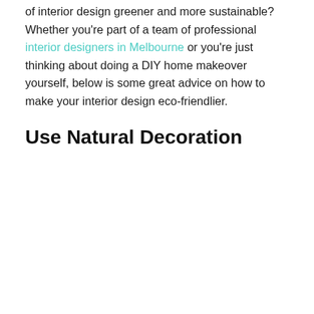of interior design greener and more sustainable? Whether you're part of a team of professional interior designers in Melbourne or you're just thinking about doing a DIY home makeover yourself, below is some great advice on how to make your interior design eco-friendlier.
Use Natural Decoration